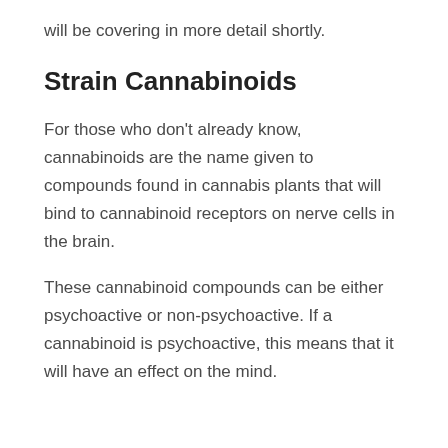will be covering in more detail shortly.
Strain Cannabinoids
For those who don't already know, cannabinoids are the name given to compounds found in cannabis plants that will bind to cannabinoid receptors on nerve cells in the brain.
These cannabinoid compounds can be either psychoactive or non-psychoactive. If a cannabinoid is psychoactive, this means that it will have an effect on the mind.